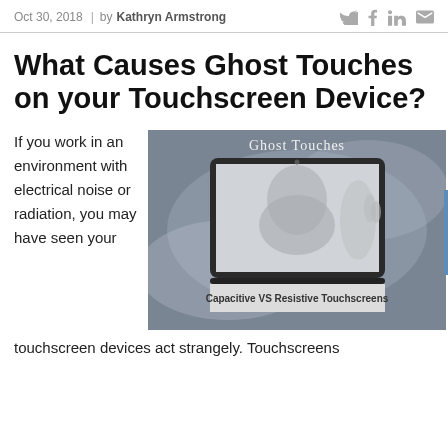Oct 30, 2018 | by Kathryn Armstrong
What Causes Ghost Touches on your Touchscreen Device?
If you work in an environment with electrical noise or radiation, you may have seen your touchscreen devices act strangely. Touchscreens
[Figure (illustration): Image showing a ghost hand pressing against a tablet screen with text 'Ghost Touches' at top and caption 'Capacitive VS Resistive Touchscreens' at bottom]
Capacitive VS Resistive Touchscreens